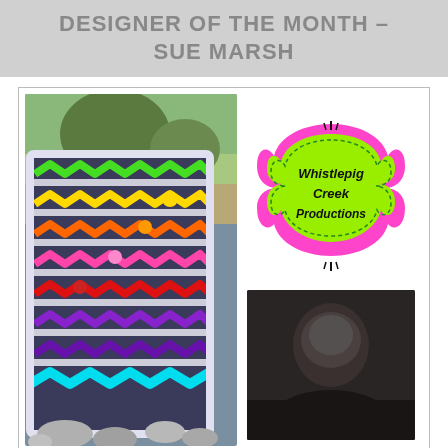DESIGNER OF THE MONTH – SUE MARSH
[Figure (photo): Colorful zigzag quilt draped over a bench in a garden setting, with bright chevron patterns in multiple colors on a dark background, displayed outdoors with rocks in the foreground]
[Figure (logo): Whistlepig Creek Productions logo: green rounded square shape with pink border, black decorative frame, text reads Whistlepig Creek Productions in black handwritten font]
[Figure (photo): Dark moody portrait photo, mostly dark tones, partial view of a person's face/head]